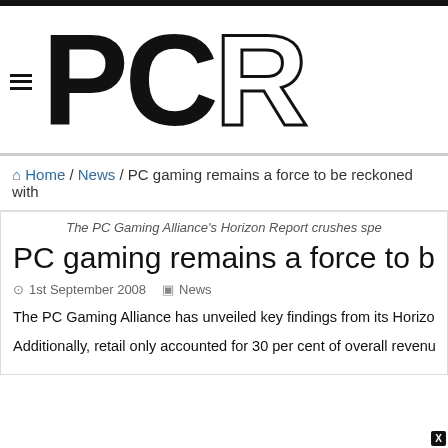PCR
Home / News / PC gaming remains a force to be reckoned with
The PC Gaming Alliance's Horizon Report crushes spe
PC gaming remains a force to be re
1st September 2008   News
The PC Gaming Alliance has unveiled key findings from its Horizon R… billion dollar industry during 2007.
Additionally, retail only accounted for 30 per cent of overall revenue, y